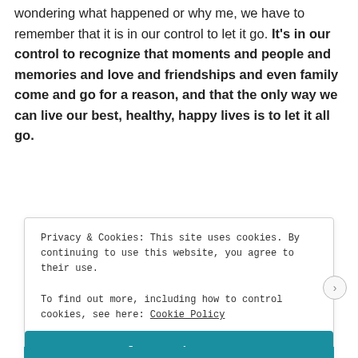wondering what happened or why me, we have to remember that it is in our control to let it go. It's in our control to recognize that moments and people and memories and love and friendships and even family come and go for a reason, and that the only way we can live our best, healthy, happy lives is to let it all go.
Privacy & Cookies: This site uses cookies. By continuing to use this website, you agree to their use.
To find out more, including how to control cookies, see here: Cookie Policy
Close and accept